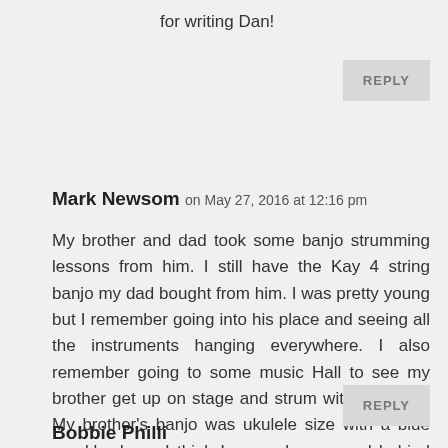for writing Dan!
REPLY
Mark Newsom on May 27, 2016 at 12:16 pm
My brother and dad took some banjo strumming lessons from him. I still have the Kay 4 string banjo my dad bought from him. I was pretty young but I remember going into his place and seeing all the instruments hanging everywhere. I also remember going to some music Hall to see my brother get up on stage and strum with the guys. My brother's banjo was ukulele size with a blue sparkle drum. I think I remember a pond behind Mr. Yokeley's place as well. That's about all I remember. I was 4 or 5.
REPLY
Bobbie Philli...